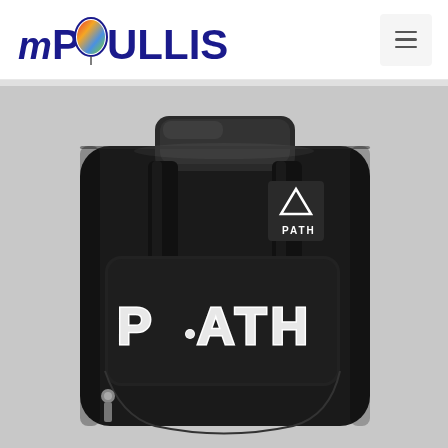mPOULLIS — navigation header with hamburger menu
[Figure (photo): Black PATH bowling bag / backpack photographed from the front-top angle, showing the padded top handle, PATH logo embroidered in white on the front pocket, and a small triangle PATH logo patch on the upper right strap. The bag is entirely black with a zipper visible on the lower left.]